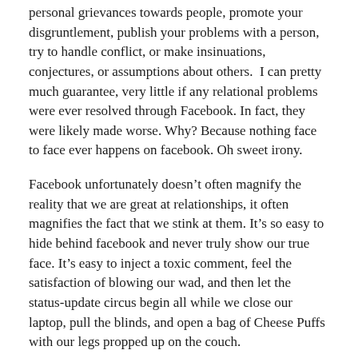personal grievances towards people, promote your disgruntlement, publish your problems with a person, try to handle conflict, or make insinuations, conjectures, or assumptions about others.  I can pretty much guarantee, very little if any relational problems were ever resolved through Facebook. In fact, they were likely made worse. Why? Because nothing face to face ever happens on facebook. Oh sweet irony.
Facebook unfortunately doesn’t often magnify the reality that we are great at relationships, it often magnifies the fact that we stink at them. It’s so easy to hide behind facebook and never truly show our true face. It’s easy to inject a toxic comment, feel the satisfaction of blowing our wad, and then let the status-update circus begin all while we close our laptop, pull the blinds, and open a bag of Cheese Puffs with our legs propped up on the couch.